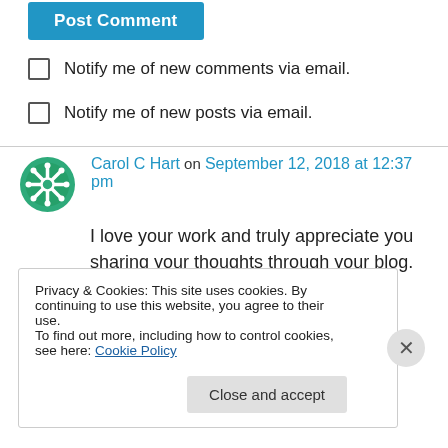[Figure (screenshot): Blue 'Post Comment' button partially visible at top]
Notify me of new comments via email.
Notify me of new posts via email.
Carol C Hart on September 12, 2018 at 12:37 pm
I love your work and truly appreciate you sharing your thoughts through your blog.
↳ Reply
Privacy & Cookies: This site uses cookies. By continuing to use this website, you agree to their use.
To find out more, including how to control cookies, see here: Cookie Policy
Close and accept